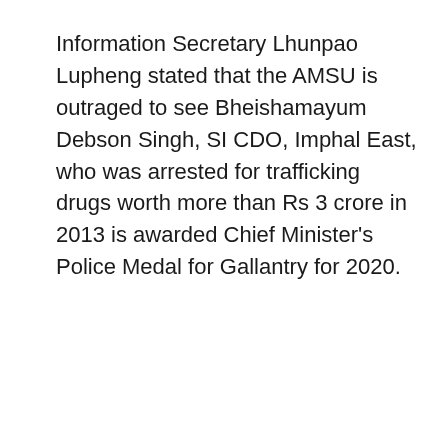Information Secretary Lhunpao Lupheng stated that the AMSU is outraged to see Bheishamayum Debson Singh, SI CDO, Imphal East, who was arrested for trafficking drugs worth more than Rs 3 crore in 2013 is awarded Chief Minister's Police Medal for Gallantry for 2020.